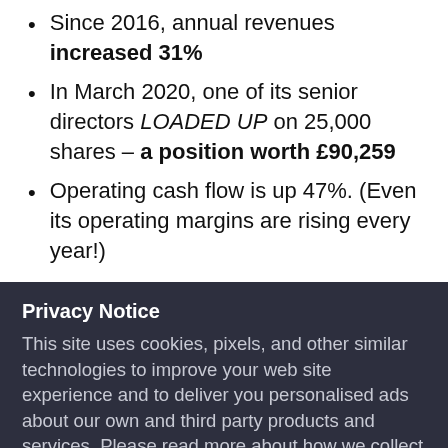Since 2016, annual revenues increased 31%
In March 2020, one of its senior directors LOADED UP on 25,000 shares – a position worth £90,259
Operating cash flow is up 47%. (Even its operating margins are rising every year!)
Quite simply, we believe it's a fantastic Foolish growth pick. What's more, it deserves your attention today! So please don't wait another
Privacy Notice
This site uses cookies, pixels, and other similar technologies to improve your web site experience and to deliver you personalised ads about our own and third party products and services. Please read more about how we collect and use data about you